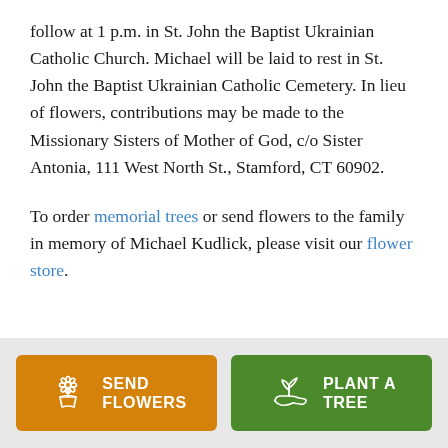follow at 1 p.m. in St. John the Baptist Ukrainian Catholic Church. Michael will be laid to rest in St. John the Baptist Ukrainian Catholic Cemetery. In lieu of flowers, contributions may be made to the Missionary Sisters of Mother of God, c/o Sister Antonia, 111 West North St., Stamford, CT 60902.
To order memorial trees or send flowers to the family in memory of Michael Kudlick, please visit our flower store.
[Figure (infographic): Two buttons side by side on a gray background: orange 'SEND FLOWERS' button with flower icon, and green 'PLANT A TREE' button with plant/hand icon.]